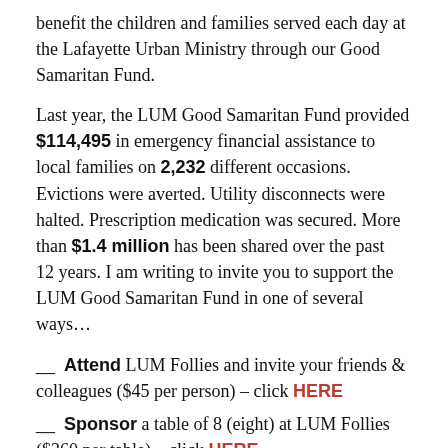benefit the children and families served each day at the Lafayette Urban Ministry through our Good Samaritan Fund.
Last year, the LUM Good Samaritan Fund provided $114,495 in emergency financial assistance to local families on 2,232 different occasions. Evictions were averted. Utility disconnects were halted. Prescription medication was secured. More than $1.4 million has been shared over the past 12 years. I am writing to invite you to support the LUM Good Samaritan Fund in one of several ways…
__ Attend LUM Follies and invite your friends & colleagues ($45 per person) – click HERE
__ Sponsor a table of 8 (eight) at LUM Follies ($360 per table) – click HERE
__ Contribute a LUM Follies Business sponsorship at one of the following levels: